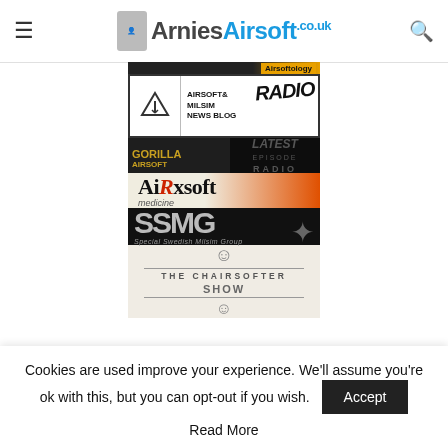ArniesAirsoft.co.uk
[Figure (logo): Airsoftology banner - dark with yellow label]
[Figure (logo): Airsoft & Milsim News Blog RADIO banner - white with arrow icon and RADIO text]
[Figure (logo): Gorilla Airsoft Radio banner - dark background with gorilla logo]
[Figure (logo): AiRxsoft medicine banner - orange gradient background]
[Figure (logo): SSMG - Special Swedish Milsim Group banner - dark background]
[Figure (logo): The Chairsofter Show banner - light background with line decorations]
Cookies are used improve your experience. We'll assume you're ok with this, but you can opt-out if you wish. Accept Read More